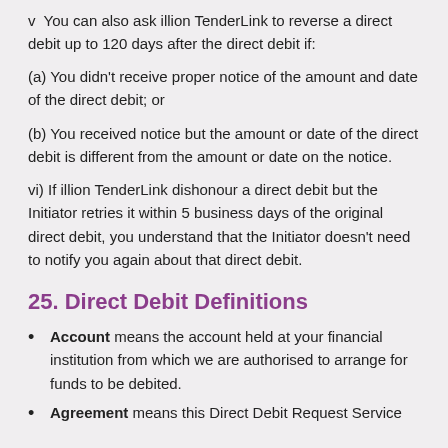v  You can also ask illion TenderLink to reverse a direct debit up to 120 days after the direct debit if:
(a) You didn't receive proper notice of the amount and date of the direct debit; or
(b) You received notice but the amount or date of the direct debit is different from the amount or date on the notice.
vi) If illion TenderLink dishonour a direct debit but the Initiator retries it within 5 business days of the original direct debit, you understand that the Initiator doesn't need to notify you again about that direct debit.
25. Direct Debit Definitions
Account means the account held at your financial institution from which we are authorised to arrange for funds to be debited.
Agreement means this Direct Debit Request Service